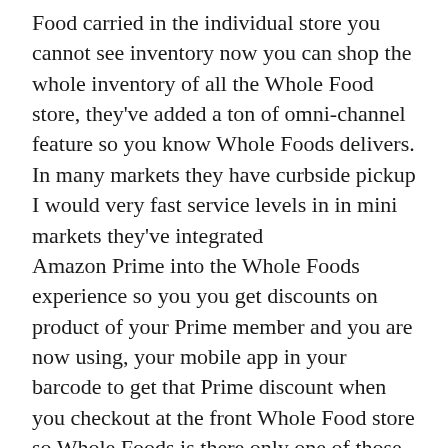Food carried in the individual store you cannot see inventory now you can shop the whole inventory of all the Whole Food store, they've added a ton of omni-channel feature so you know Whole Foods delivers. In many markets they have curbside pickup I would very fast service levels in in mini markets they've integrated Amazon Prime into the Whole Foods experience so you you get discounts on product of your Prime member and you are now using, your mobile app in your barcode to get that Prime discount when you checkout at the front Whole Food store so Whole Foods is there only one of those Concepts and then.